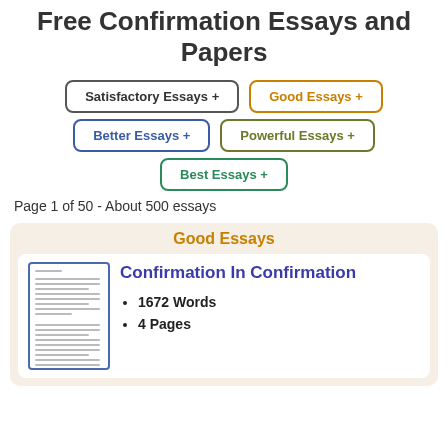Free Confirmation Essays and Papers
Satisfactory Essays +
Good Essays +
Better Essays +
Powerful Essays +
Best Essays +
Page 1 of 50 - About 500 essays
Good Essays
[Figure (illustration): Thumbnail image of a document page with text lines]
Confirmation In Confirmation
1672 Words
4 Pages